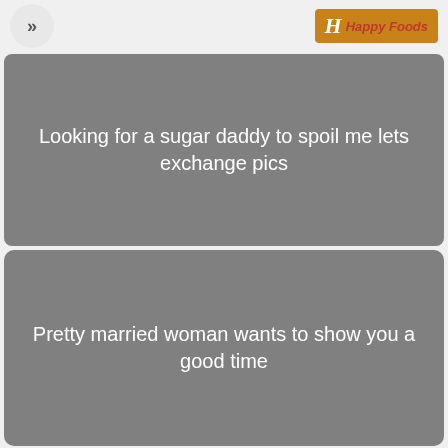>> | HappyFoods logo
Looking for a sugar daddy to spoil me lets exchange pics
Pretty married woman wants to show you a good time